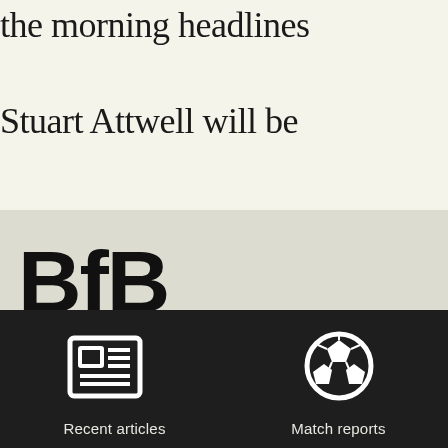the morning headlines…
Stuart Attwell will be …
BfB
In 2020 BfB is almost exclusively written by Michael Wood.
There is a Twitter feed at @boyfrombrazil but it is not often used for conversation. You can tweet me about football at…
[Figure (illustration): Newspaper/article icon — white newspaper with columns on dark background]
Recent articles
[Figure (illustration): Soccer ball icon — white football on dark background]
Match reports